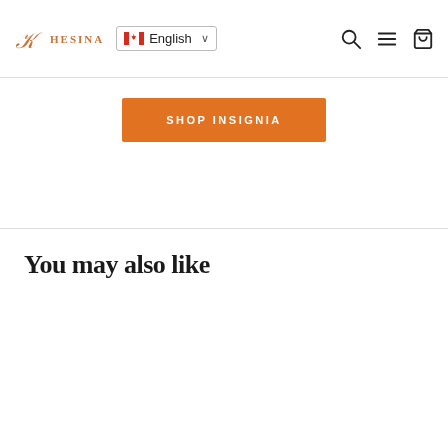HESINA (logo) | English (language selector) | search, menu, cart icons
SHOP INSIGNIA
You may also like